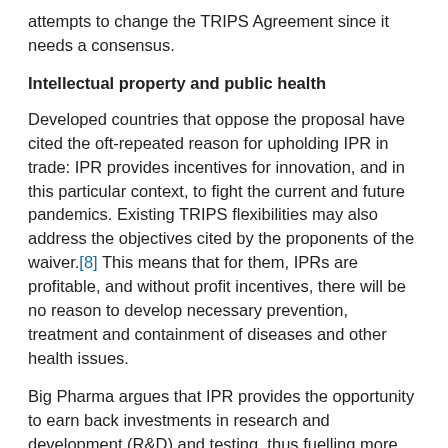attempts to change the TRIPS Agreement since it needs a consensus.
Intellectual property and public health
Developed countries that oppose the proposal have cited the oft-repeated reason for upholding IPR in trade: IPR provides incentives for innovation, and in this particular context, to fight the current and future pandemics. Existing TRIPS flexibilities may also address the objectives cited by the proponents of the waiver.[8] This means that for them, IPRs are profitable, and without profit incentives, there will be no reason to develop necessary prevention, treatment and containment of diseases and other health issues.
Big Pharma argues that IPR provides the opportunity to earn back investments in research and development (R&D) and testing, thus fuelling more innovation. But many of these innovations have actually been funded by public money. In the case of vaccine development, an early assessment showed that the six most prominent Covid-19